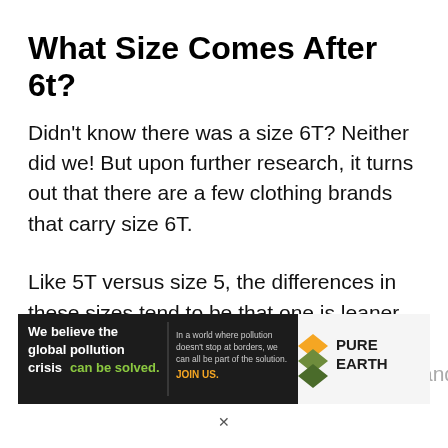What Size Comes After 6t?
Didn't know there was a size 6T? Neither did we! But upon further research, it turns out that there are a few clothing brands that carry size 6T.
Like 5T versus size 5, the differences in these sizes tend to be that one is leaner and longer than the other. The same is true for size 6 and...
[Figure (infographic): Pure Earth advertisement banner: 'We believe the global pollution crisis can be solved.' with 'In a world where pollution doesn't stop at borders, we can all be part of the solution. JOIN US.' and Pure Earth logo with diamond/arrow icon.]